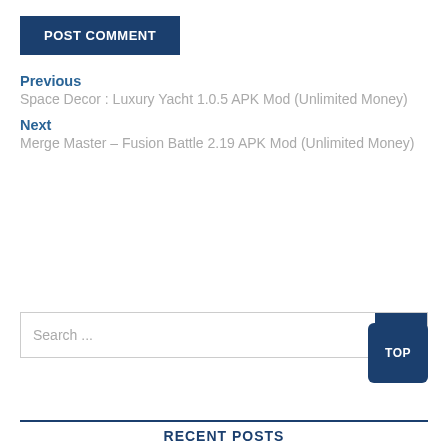POST COMMENT
Previous
Space Decor : Luxury Yacht 1.0.5 APK Mod (Unlimited Money)
Next
Merge Master – Fusion Battle 2.19 APK Mod (Unlimited Money)
Search ...
TOP
RECENT POSTS